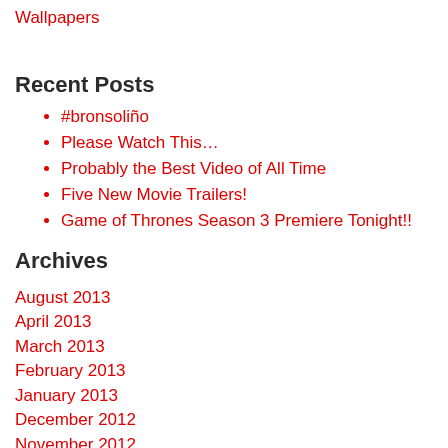Wallpapers
Recent Posts
#bronsoliño
Please Watch This…
Probably the Best Video of All Time
Five New Movie Trailers!
Game of Thrones Season 3 Premiere Tonight!!
Archives
August 2013
April 2013
March 2013
February 2013
January 2013
December 2012
November 2012